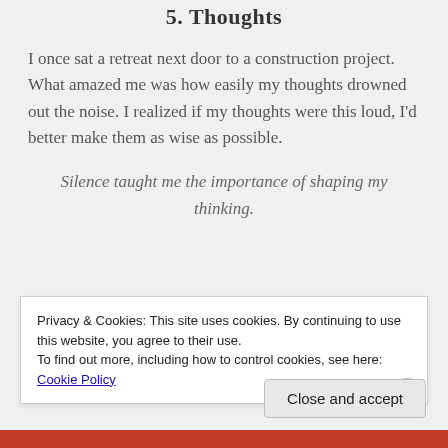5.  Thoughts
I once sat a retreat next door to a construction project.  What amazed me was how easily my thoughts drowned out the noise.  I realized if my thoughts were this loud, I'd better make them as wise as possible.
Silence taught me the importance of shaping my thinking.
Privacy & Cookies: This site uses cookies. By continuing to use this website, you agree to their use.
To find out more, including how to control cookies, see here: Cookie Policy